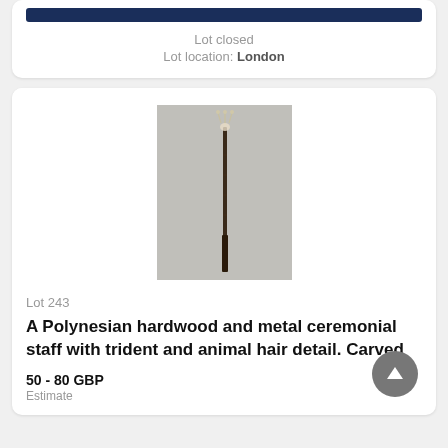Lot closed
Lot location: London
[Figure (photo): A tall thin ceremonial staff with a trident/fork top and animal hair detail, photographed against a grey background]
Lot 243
A Polynesian hardwood and metal ceremonial staff with trident and animal hair detail. Carved
50 - 80 GBP
Estimate